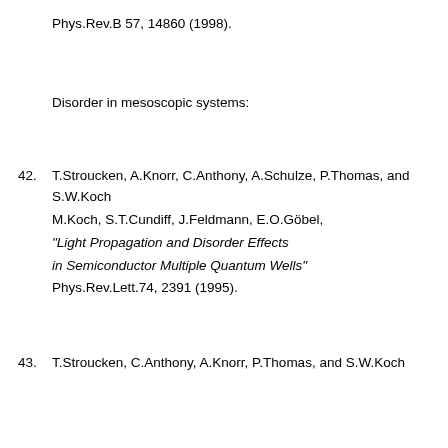Phys.Rev.B 57, 14860 (1998).
Disorder in mesoscopic systems:
42. T.Stroucken, A.Knorr, C.Anthony, A.Schulze, P.Thomas, and S.W.Koch
M.Koch, S.T.Cundiff, J.Feldmann, E.O.Göbel,
"Light Propagation and Disorder Effects
in Semiconductor Multiple Quantum Wells"
Phys.Rev.Lett.74, 2391 (1995).
43. T.Stroucken, C.Anthony, A.Knorr, P.Thomas, and S.W.Koch